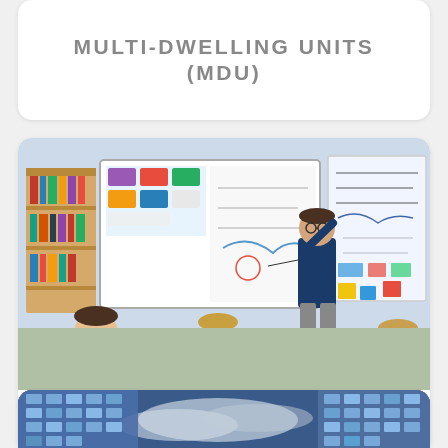MULTI-DWELLING UNITS (MDU)
[Figure (photo): Classroom scene with teacher standing at whiteboard/display, writing on it while students sit at desks facing the board. Bookshelves and bulletin boards visible in background.]
EDUCATION
[Figure (photo): Modern office building exterior with blue glass facade photographed from below against a cloudy sky (partially visible at bottom of page).]